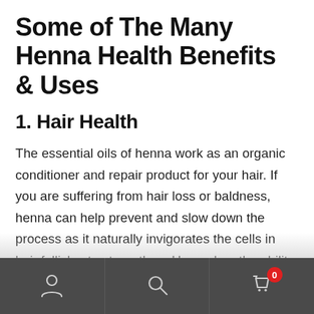Some of The Many Henna Health Benefits & Uses
1. Hair Health
The essential oils of henna work as an organic conditioner and repair product for your hair. If you are suffering from hair loss or baldness, henna can help prevent and slow down the process as it naturally invigorates the cells in hair follicles to strengthen. Henna has the ability to seal hair cuticles, prevent breaking and is naturally anti dandruff, as it can improve your scalp. When mixed with a moisturizing agent such...